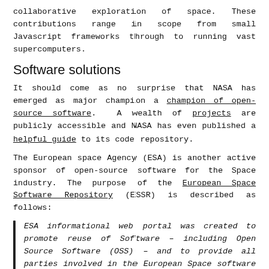collaborative exploration of space. These contributions range in scope from small Javascript frameworks through to running vast supercomputers.
Software solutions
It should come as no surprise that NASA has emerged as major champion a champion of open-source software. A wealth of projects are publicly accessible and NASA has even published a helpful guide to its code repository.
The European space Agency (ESA) is another active sponsor of open-source software for the Space industry. The purpose of the European Space Software Repository (ESSR) is described as follows:
ESA informational web portal was created to promote reuse of Software – including Open Source Software (OSS) – and to provide all parties involved in the European Space software development (in particular SMEs) with access to results of previous investments.